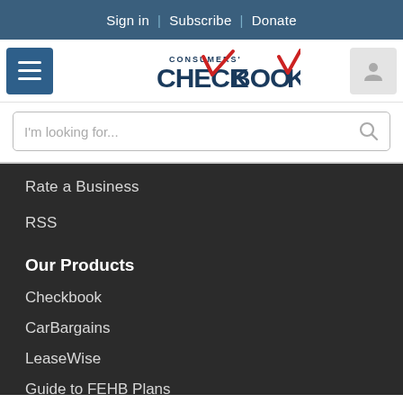Sign in  |  Subscribe  |  Donate
[Figure (logo): Consumers' Checkbook logo with red checkmarks]
I'm looking for...
Rate a Business
RSS
Our Products
Checkbook
CarBargains
LeaseWise
Guide to FEHB Plans
Gift Subscription
Health Plan Comparison Tools
Consumerpedia Podcast